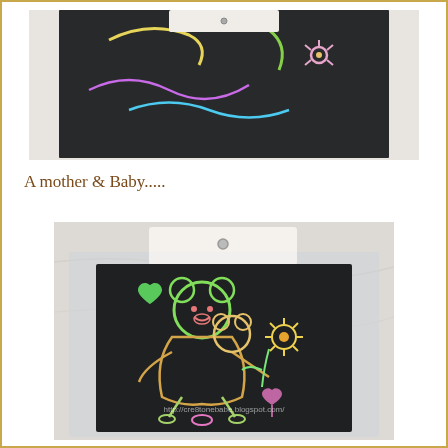[Figure (photo): Top portion of a scratch art card in a clear plastic bag showing colorful neon scratch art design on black background, partially visible]
A mother & Baby.....
[Figure (photo): A scratch art card in a clear plastic bag with a hanging hole, showing a colorful neon scratch art of a mother bear and baby bear with a sunflower, heart shapes, on black background. Watermark text: http://cre8tonebabe.blogspot.com/]